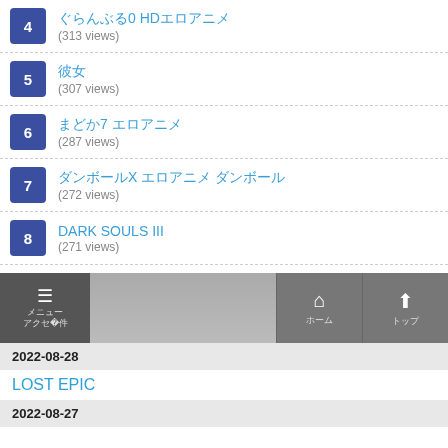4 - ぐらんぶる0 HDエロアニメ (313 views)
5 - 彼女 (307 views)
6 - まどか7 エロアニメ (287 views)
7 - ダンボールX エロアニメ ダンボール (272 views)
8 - DARK SOULS III (271 views)
9 - Deliver Us The Moon (256 views)
10 - まどかO エロアニメ (252 views)
Nav bar - menu, home, top
2022-08-28
LOST EPIC
2022-08-27